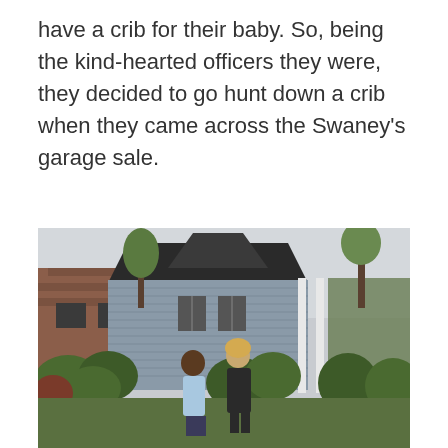have a crib for their baby. So, being the kind-hearted officers they were, they decided to go hunt down a crib when they came across the Swaney's garage sale.
[Figure (photo): Outdoor scene showing two people standing on a lawn in front of a gray suburban house with white columns and landscaped bushes. One person wearing a light blue shirt and the other in a black jacket with blonde hair. Trees and a red brick building visible in background.]